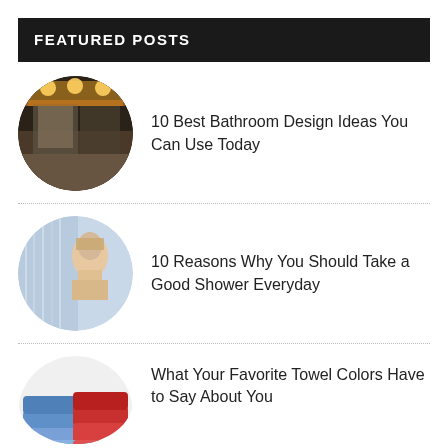FEATURED POSTS
[Figure (photo): Circular photo of a modern bathroom interior with warm LED lighting and dark tiles]
10 Best Bathroom Design Ideas You Can Use Today
[Figure (photo): Circular photo of a woman showering with water cascading down]
10 Reasons Why You Should Take a Good Shower Everyday
[Figure (photo): Circular photo of colorful stacked towels in red and blue]
What Your Favorite Towel Colors Have to Say About You